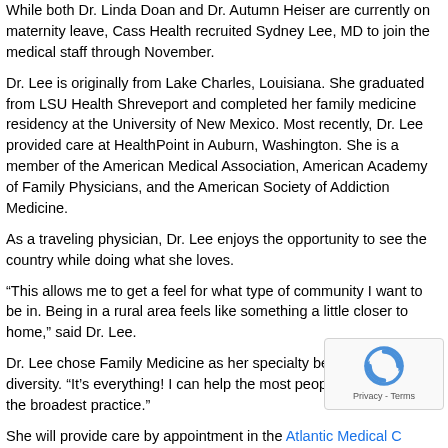While both Dr. Linda Doan and Dr. Autumn Heiser are currently on maternity leave, Cass Health recruited Sydney Lee, MD to join the medical staff through November.
Dr. Lee is originally from Lake Charles, Louisiana. She graduated from LSU Health Shreveport and completed her family medicine residency at the University of New Mexico. Most recently, Dr. Lee provided care at HealthPoint in Auburn, Washington. She is a member of the American Medical Association, American Academy of Family Physicians, and the American Society of Addiction Medicine.
As a traveling physician, Dr. Lee enjoys the opportunity to see the country while doing what she loves.
“This allows me to get a feel for what type of community I want to be in. Being in a rural area feels like something a little closer to home,” said Dr. Lee.
Dr. Lee chose Family Medicine as her specialty because of the diversity. “It’s everything! I can help the most people because it’s the broadest practice.”
She will provide care by appointment in the Atlantic Medical C... Lee also provides care for obstetrics and hospital patients.